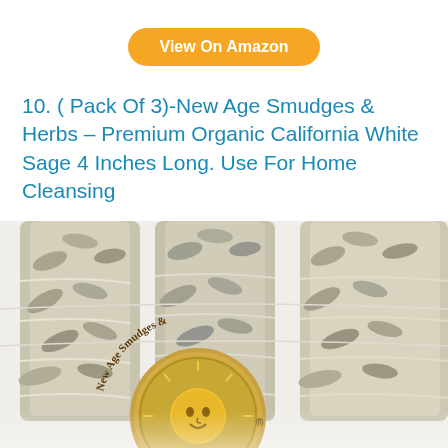View On Amazon
10. ( Pack Of 3)-New Age Smudges & Herbs – Premium Organic California White Sage 4 Inches Long. Use For Home Cleansing
[Figure (photo): Three white sage smudge sticks bundled with white string, with a round gold New Age Smudges & Herbs branded label in the foreground featuring a sun face design]